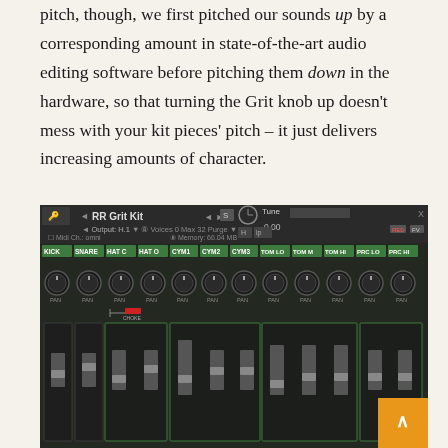pitch, though, we first pitched our sounds up by a corresponding amount in state-of-the-art audio editing software before pitching them down in the hardware, so that turning the Grit knob up doesn't mess with your kit pieces' pitch – it just delivers increasing amounts of character.
[Figure (screenshot): Screenshot of RR Grit Kit drum sampler plugin interface showing mixer with channels labeled KICK, SNARE, HAT C, HAT O, CYM1, CYM2, CYM3, TOM LO, TOM M, TOM HI, PRC LO, PRC HI with knobs and faders on a dark background.]